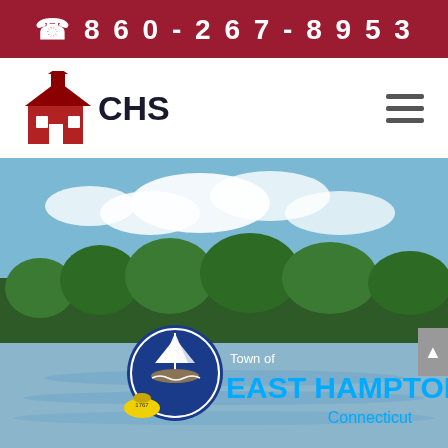☎ 860-267-8953
[Figure (logo): CHS schoolhouse logo in red with bell tower and text 'CHS']
[Figure (photo): Scenic lake and forest photo with Town of East Hampton Connecticut logo overlay showing a sailing ship and bell, text reads 'Town of EAST HAMPTON Connecticut']